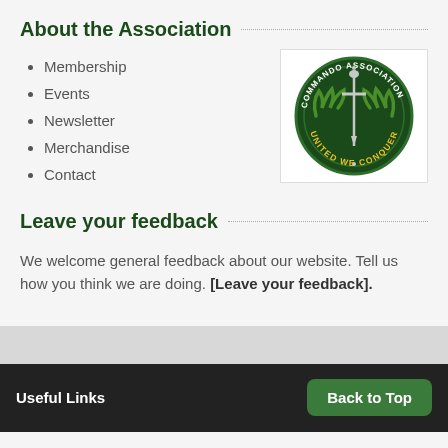About the Association
Membership
Events
Newsletter
Merchandise
Contact
[Figure (logo): Commando Association circular badge with a sword, laurel wreath, and text 'COMMANDO ASSOCIATION · UNITED WE CONQUER' on a dark green background]
Leave your feedback
We welcome general feedback about our website. Tell us how you think we are doing. [Leave your feedback].
Useful Links    Back to Top